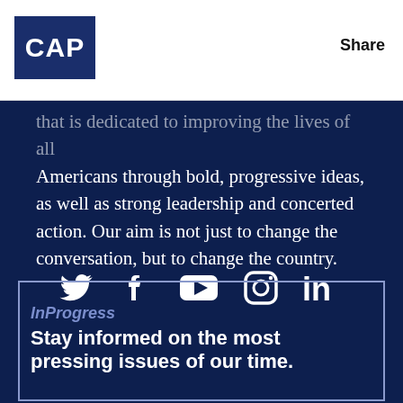[Figure (logo): CAP logo — white text 'CAP' on dark navy square background]
Share
that is dedicated to improving the lives of all Americans through bold, progressive ideas, as well as strong leadership and concerted action. Our aim is not just to change the conversation, but to change the country.
[Figure (infographic): Social media icons row: Twitter, Facebook, YouTube, Instagram, LinkedIn — white icons on dark navy background]
InProgress
Stay informed on the most pressing issues of our time.